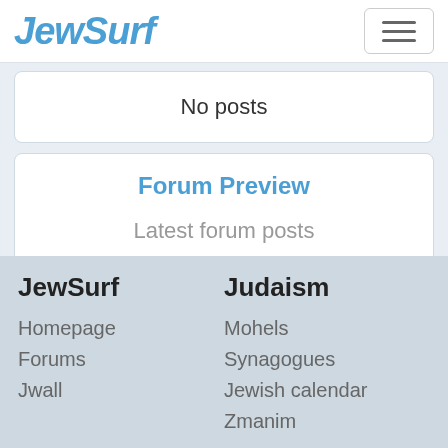JewSurf
No posts
Forum Preview
Latest forum posts
No posts
JewSurf
Homepage
Forums
Jwall
Judaism
Mohels
Synagogues
Jewish calendar
Zmanim